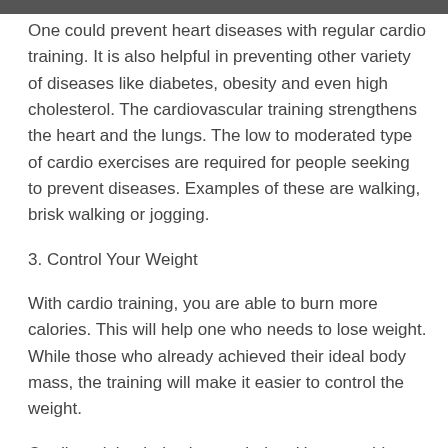One could prevent heart diseases with regular cardio training. It is also helpful in preventing other variety of diseases like diabetes, obesity and even high cholesterol. The cardiovascular training strengthens the heart and the lungs. The low to moderated type of cardio exercises are required for people seeking to prevent diseases. Examples of these are walking, brisk walking or jogging.
3. Control Your Weight
With cardio training, you are able to burn more calories. This will help one who needs to lose weight. While those who already achieved their ideal body mass, the training will make it easier to control the weight.
Cardio training helps burn calories. However this